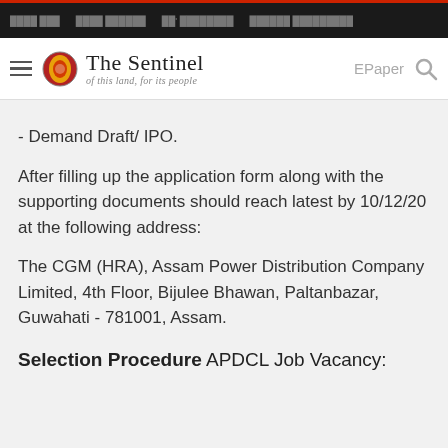The Sentinel - of this land, for its people
- Demand Draft/ IPO.
After filling up the application form along with the supporting documents should reach latest by 10/12/20 at the following address:
The CGM (HRA), Assam Power Distribution Company Limited, 4th Floor, Bijulee Bhawan, Paltanbazar, Guwahati - 781001, Assam.
Selection Procedure APDCL Job Vacancy: